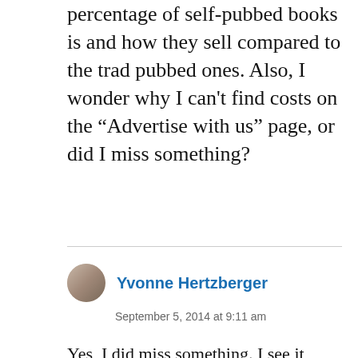percentage of self-pubbed books is and how they sell compared to the trad pubbed ones. Also, I wonder why I can't find costs on the “Advertise with us” page, or did I miss something?
Yvonne Hertzberger
September 5, 2014 at 9:11 am
Yes, I did miss something. I see it now. my apologies.
A.C. Flory
September 5, 2014 at 3:05 pm